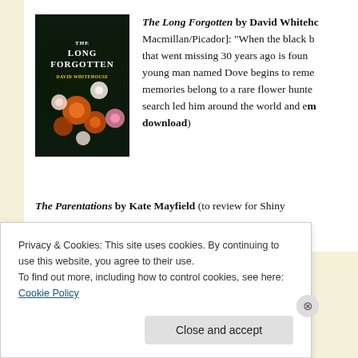[Figure (illustration): Book cover of 'The Long Forgotten' by David Whitehouse, featuring dark floral imagery with orange, white and pink flowers on a dark background.]
The Long Forgotten by David Whitehouse [Macmillan/Picador]: "When the black box that went missing 30 years ago is found, a young man named Dove begins to remember memories belong to a rare flower hunter whose search led him around the world and en... download)
The Parentations by Kate Mayfield (to review for Shiny Books?) [March 29, Oneworld]: From editor Jenny Parrot...
Privacy & Cookies: This site uses cookies. By continuing to use this website, you agree to their use.
To find out more, including how to control cookies, see here: Cookie Policy
Close and accept